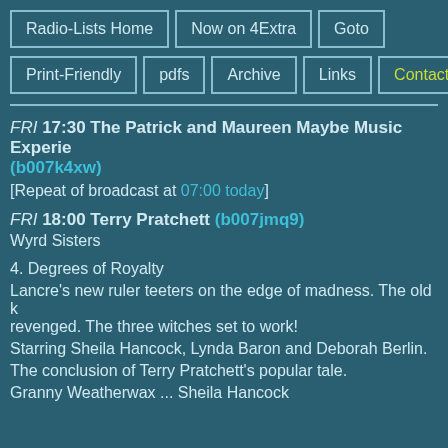Radio-Lists Home | Now on 4Extra | Goto | Print-Friendly | pdfs | Archive | Links | Contact
FRI 17:30 The Patrick and Maureen Maybe Music Experience (b007k4xw)
[Repeat of broadcast at 07:00 today]
FRI 18:00 Terry Pratchett (b007jmq9)
Wyrd Sisters
4. Degrees of Royalty
Lancre's new ruler teeters on the edge of madness. The old king must be revenged. The three witches set to work!
Starring Sheila Hancock, Lynda Baron and Deborah Berlin.
The conclusion of Terry Pratchett's popular tale.
Granny Weatherwax ... Sheila Hancock